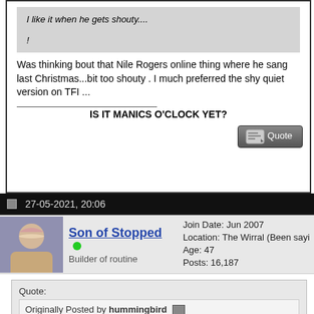I like it when he gets shouty....
!
Was thinking bout that Nile Rogers online thing where he sang last Christmas...bit too shouty . I much preferred the shy quiet version on TFI ...
IS IT MANICS O'CLOCK YET?
27-05-2021, 20:06
Son of Stopped
Builder of routine
Join Date: Jun 2007
Location: The Wirral (Been sayi
Age: 47
Posts: 16,187
Quote:
Originally Posted by hummingbird
Was thinking bout that Nile Rogers online thing where he sang la...
I much preferred the shy quiet version on TFI ...
Argh! Imagine YLA or any duet sung between JDB and Nile Rogers?!
You can see why they invented medications to stop people imagining